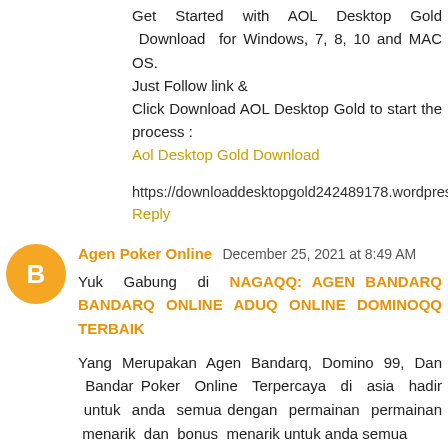Get Started with AOL Desktop Gold Download for Windows, 7, 8, 10 and MAC OS.
Just Follow link &
Click Download AOL Desktop Gold to start the process :
Aol Desktop Gold Download
https://downloaddesktopgold242489178.wordpress.com/
Reply
Agen Poker Online December 25, 2021 at 8:49 AM
Yuk Gabung di NAGAQQ: AGEN BANDARQ BANDARQ ONLINE ADUQ ONLINE DOMINOQQ TERBAIK
Yang Merupakan Agen Bandarq, Domino 99, Dan Bandar Poker Online Terpercaya di asia hadir untuk anda semua dengan permainan permainan menarik dan bonus menarik untuk anda semua
Bonus yang diberikan NagaQQ :
* Bonus rollingan 0.5%,setiap senin di bagikannya